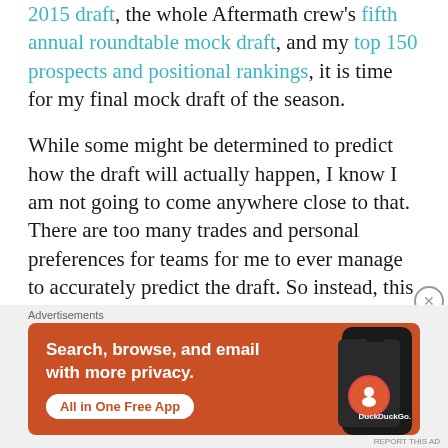2015 draft, the whole Aftermath crew's fifth annual roundtable mock draft, and my top 150 prospects and positional rankings, it is time for my final mock draft of the season.
While some might be determined to predict how the draft will actually happen, I know I am not going to come anywhere close to that. There are too many trades and personal preferences for teams for me to ever manage to accurately predict the draft. So instead, this is what I think SHOULD happen on Thursday and
Advertisements
[Figure (illustration): DuckDuckGo advertisement banner on orange background: 'Search, browse, and email with more privacy. All in One Free App' with a smartphone image and DuckDuckGo logo.]